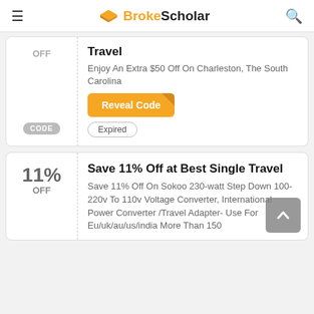BrokeScholar
OFF
Travel
Enjoy An Extra $50 Off On Charleston, The South Carolina
Reveal Code
Expired
CODE
11% OFF
Save 11% Off at Best Single Travel
Save 11% Off On Sokoo 230-watt Step Down 100-220v To 110v Voltage Converter, International Power Converter /Travel Adapter- Use For Eu/uk/au/us/india More Than 150